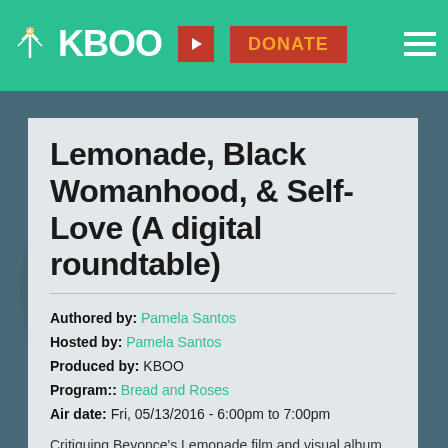KBOO | DONATE
Lemonade, Black Womanhood, & Self-Love (A digital roundtable)
Authored by: Pamela Santos
Hosted by: Pamela Santos
Produced by: KBOO
Program:: Bread and Roses
Air date: Fri, 05/13/2016 - 6:00pm to 7:00pm
Critiquing Beyonce's Lemonade film and visual album with Black artist roundtable
Hosts: Pamela Santos and Tamara Bell...